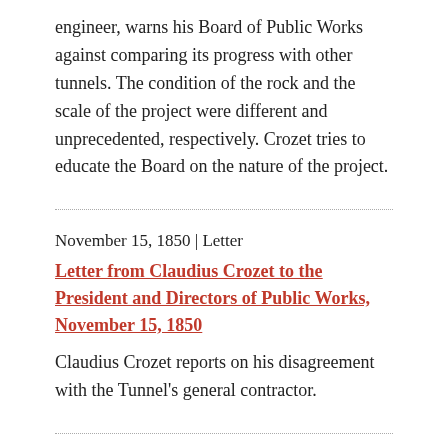engineer, warns his Board of Public Works against comparing its progress with other tunnels. The condition of the rock and the scale of the project were different and unprecedented, respectively. Crozet tries to educate the Board on the nature of the project.
November 15, 1850 | Letter
Letter from Claudius Crozet to the President and Directors of Public Works, November 15, 1850
Claudius Crozet reports on his disagreement with the Tunnel's general contractor.
January 15, 1851 | Letter